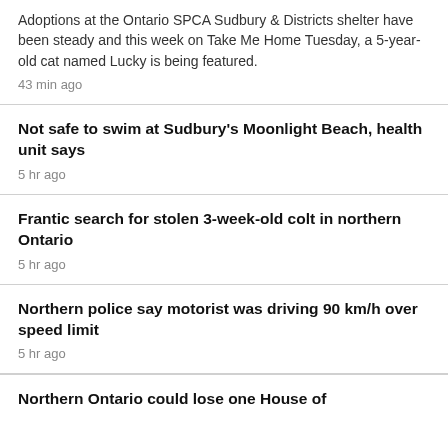Adoptions at the Ontario SPCA Sudbury & Districts shelter have been steady and this week on Take Me Home Tuesday, a 5-year-old cat named Lucky is being featured.
43 min ago
Not safe to swim at Sudbury's Moonlight Beach, health unit says
5 hr ago
Frantic search for stolen 3-week-old colt in northern Ontario
5 hr ago
Northern police say motorist was driving 90 km/h over speed limit
5 hr ago
Northern Ontario could lose one House of